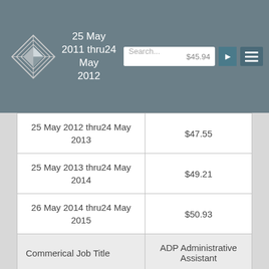25 May 2011 thru 24 May 2012 | Search... $45.94
| 25 May 2012 thru24 May 2013 | $47.55 |
| 25 May 2013 thru24 May 2014 | $49.21 |
| 26 May 2014 thru24 May 2015 | $50.93 |
| Commerical Job Title | ADP Administrative Assistant |
| 25 May 2010 thru24 May 2011 | $39.60 |
| 25 May 2011 thru24 May 2012 | $40.99 |